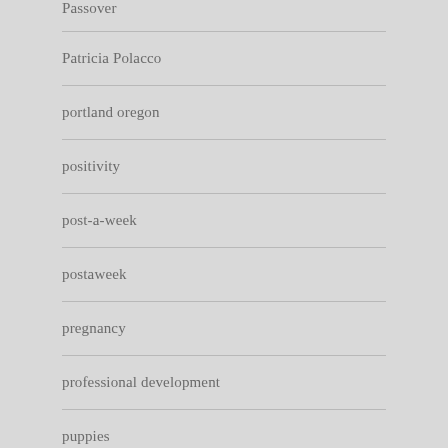Passover
Patricia Polacco
portland oregon
positivity
post-a-week
postaweek
pregnancy
professional development
puppies
puppy life
radiation